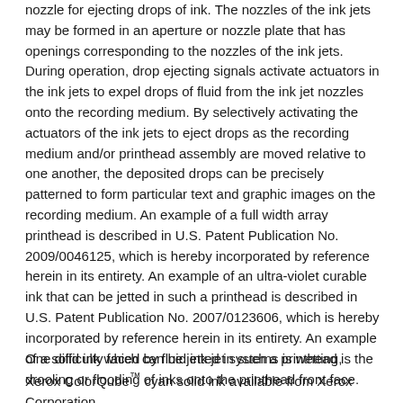nozzle for ejecting drops of ink. The nozzles of the ink jets may be formed in an aperture or nozzle plate that has openings corresponding to the nozzles of the ink jets. During operation, drop ejecting signals activate actuators in the ink jets to expel drops of fluid from the ink jet nozzles onto the recording medium. By selectively activating the actuators of the ink jets to eject drops as the recording medium and/or printhead assembly are moved relative to one another, the deposited drops can be precisely patterned to form particular text and graphic images on the recording medium. An example of a full width array printhead is described in U.S. Patent Publication No. 2009/0046125, which is hereby incorporated by reference herein in its entirety. An example of an ultra-violet curable ink that can be jetted in such a printhead is described in U.S. Patent Publication No. 2007/0123606, which is hereby incorporated by reference herein in its entirety. An example of a solid ink which can be jetted in such a printhead is the Xerox ColorQube™ cyan solid ink available from Xerox Corporation.
One difficulty faced by fluid ink jet systems is wetting, drooling or flooding of inks onto the printhead front face.